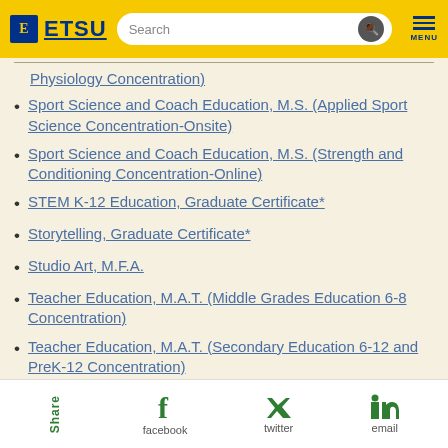ETSU | Search | MENU
Physiology Concentration)
Sport Science and Coach Education, M.S. (Applied Sport Science Concentration-Onsite)
Sport Science and Coach Education, M.S. (Strength and Conditioning Concentration-Online)
STEM K-12 Education, Graduate Certificate*
Storytelling, Graduate Certificate*
Studio Art, M.F.A.
Teacher Education, M.A.T. (Middle Grades Education 6-8 Concentration)
Teacher Education, M.A.T. (Secondary Education 6-12 and PreK-12 Concentration)
Share | facebook | twitter | email